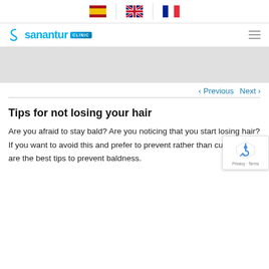Sanantur Clinic — language selector (ES, EN, FR flags)
[Figure (logo): Sanantur Clinic logo with stylized S icon and CLINIC badge]
[Figure (illustration): Gray banner / hero image area]
< Previous   Next >
Tips for not losing your hair
Are you afraid to stay bald? Are you noticing that you start losing hair? If you want to avoid this and prefer to prevent rather than cure, here are the best tips to prevent baldness.